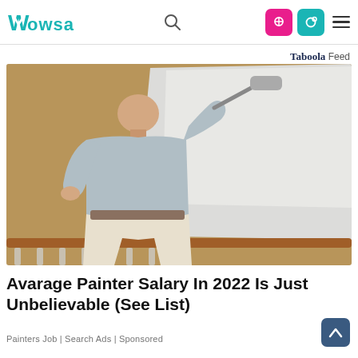Wowsa — navigation bar with logo, search icon, and menu icons
Taboola Feed
[Figure (photo): A bald man in a light grey t-shirt and white pants painting a tan/brown interior wall white using a paint roller on a long handle. He is viewed from behind. A wooden railing is visible in the foreground.]
Avarage Painter Salary In 2022 Is Just Unbelievable (See List)
Painters Job | Search Ads | Sponsored